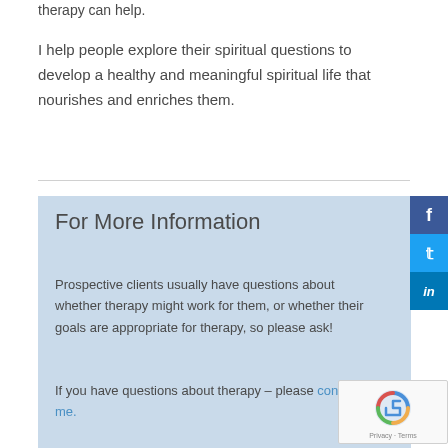therapy can help.
I help people explore their spiritual questions to develop a healthy and meaningful spiritual life that nourishes and enriches them.
For More Information
Prospective clients usually have questions about whether therapy might work for them, or whether their goals are appropriate for therapy, so please ask!
If you have questions about therapy – please contact me.